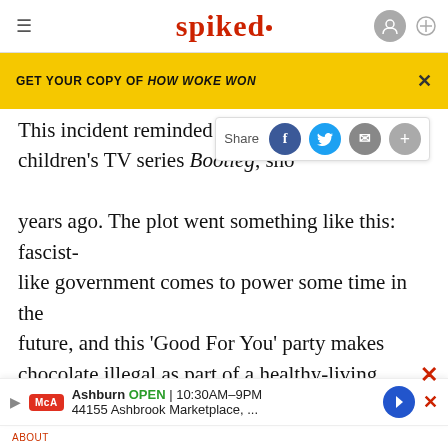spiked
GET YOUR COPY OF HOW WOKE WON
This incident reminded me of the children's TV series Bootleg, shown on the BBC a few years ago. The plot went something like this: fascist-like government comes to power some time in the future, and this 'Good For You' party makes chocolate illegal as part of a healthy-living crusade. Of course, Bootleg was meant to be a satire, but I am startled at how closely this parody matches the reality of Britain in 2006. In contrast to real-life 2006, however...Bootleg
ABOUT